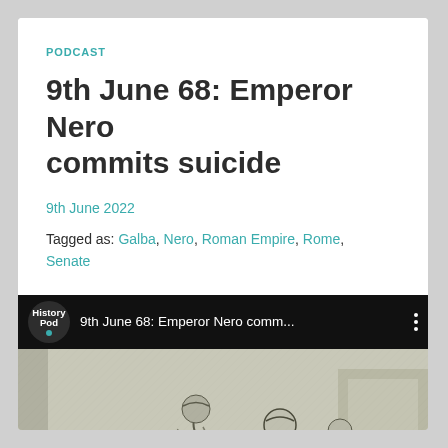PODCAST
9th June 68: Emperor Nero commits suicide
9th June 2022
Tagged as: Galba, Nero, Roman Empire, Rome, Senate
[Figure (screenshot): Podcast player bar showing History Pod logo and episode title '9th June 68: Emperor Nero comm...' with three-dot menu]
[Figure (illustration): Historical engraving depicting Roman figures in classical robes, appearing to be in somber discussion or mourning scene]